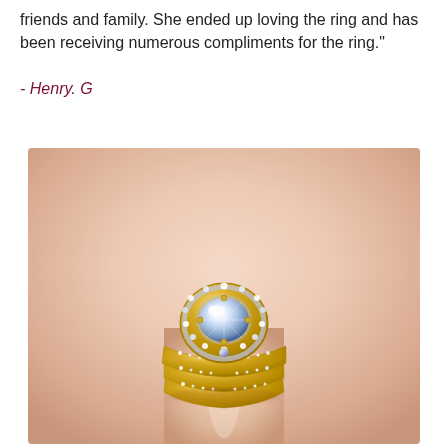friends and family. She ended up loving the ring and has been receiving numerous compliments for the ring."
- Henry. G
[Figure (photo): Close-up photo of a hand wearing a diamond engagement ring with a halo setting and yellow gold multi-band design set with small diamonds along the shank.]